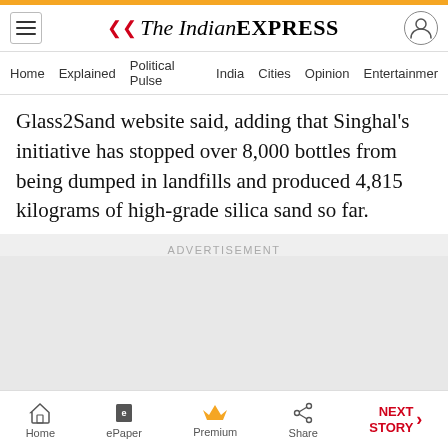The Indian Express
Home | Explained | Political Pulse | India | Cities | Opinion | Entertainment
Glass2Sand website said, adding that Singhal's initiative has stopped over 8,000 bottles from being dumped in landfills and produced 4,815 kilograms of high-grade silica sand so far.
[Figure (other): Advertisement placeholder area]
Home | ePaper | Premium | Share | NEXT STORY